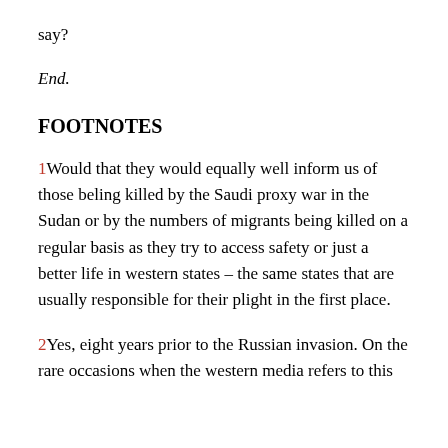say?
End.
FOOTNOTES
1Would that they would equally well inform us of those beling killed by the Saudi proxy war in the Sudan or by the numbers of migrants being killed on a regular basis as they try to access safety or just a better life in western states – the same states that are usually responsible for their plight in the first place.
2Yes, eight years prior to the Russian invasion. On the rare occasions when the western media refers to this